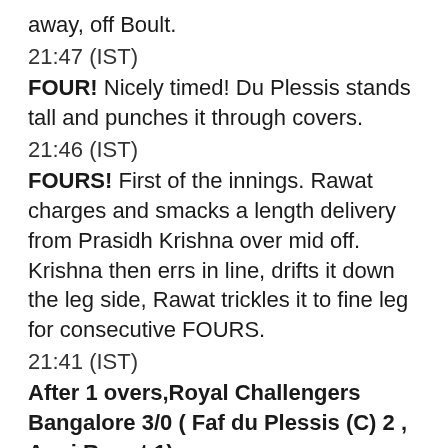away, off Boult.
21:47 (IST)
FOUR! Nicely timed! Du Plessis stands tall and punches it through covers.
21:46 (IST)
FOURS! First of the innings. Rawat charges and smacks a length delivery from Prasidh Krishna over mid off. Krishna then errs in line, drifts it down the leg side, Rawat trickles it to fine leg for consecutive FOURS.
21:41 (IST)
After 1 overs,Royal Challengers Bangalore 3/0 ( Faf du Plessis (C) 2 , Anuj Rawat 1)
IPL 2022 RR vs RCB Live score
A good first over from Boult. He got a hint of